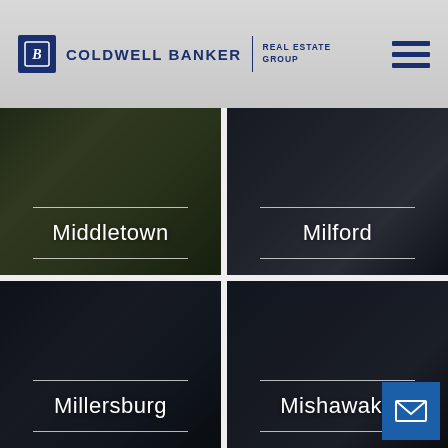[Figure (logo): Coldwell Banker Real Estate Group logo with CB icon and hamburger menu]
[Figure (photo): City card: Middletown - house with green lawn, dark overlay]
[Figure (photo): City card: Milford - interior dining area, dark overlay]
[Figure (photo): City card: Millersburg - house exterior with peaked roof, dark overlay]
[Figure (photo): City card: Mishawaka - house with American flag, dark overlay, email button overlay]